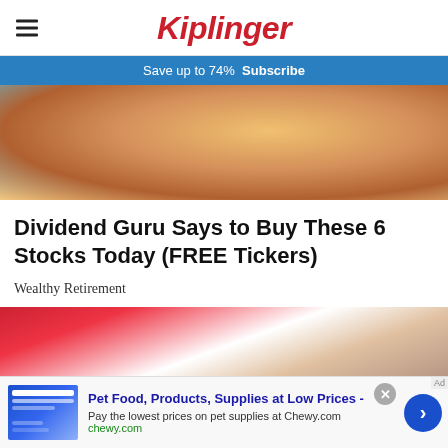Kiplinger
Save up to 74%  Subscribe
[Figure (photo): Man relaxing on a pool float with a banana-shaped inflatable, outdoors in sunlight.]
Dividend Guru Says to Buy These 6 Stocks Today (FREE Tickers)
Wealthy Retirement
[Figure (photo): Blonde woman sitting at a desk in front of an American flag.]
Pet Food, Products, Supplies at Low Prices - Pay the lowest prices on pet supplies at Chewy.com chewy.com